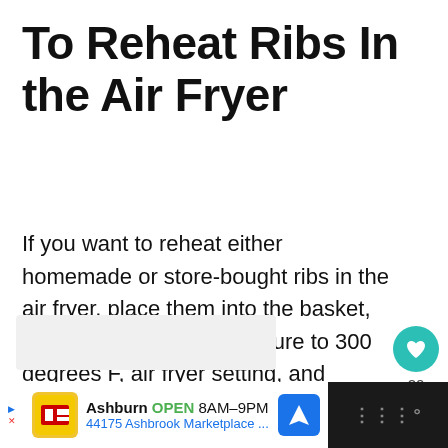To Reheat Ribs In the Air Fryer
If you want to reheat either homemade or store-bought ribs in the air fryer, place them into the basket, and then set the temperature to 300 degrees F, air fryer setting, and reheat until warmed through.
[Figure (other): Teal circular like/heart button with heart icon, showing count 20 below, and a share button circle below that]
[Figure (other): Advertisement banner: Lidl store ad showing Ashburn location, OPEN 8AM-9PM, 44175 Ashbrook Marketplace ..., with blue navigation arrow icon, on dark background with streaming service logo]